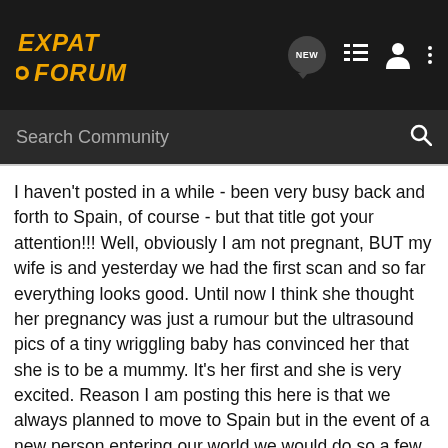EXPAT FORUM
I haven't posted in a while - been very busy back and forth to Spain, of course - but that title got your attention!!! Well, obviously I am not pregnant, BUT my wife is and yesterday we had the first scan and so far everything looks good. Until now I think she thought her pregnancy was just a rumour but the ultrasound pics of a tiny wriggling baby has convinced her that she is to be a mummy. It's her first and she is very excited. Reason I am posting this here is that we always planned to move to Spain but in the event of a new person entering our world we would do so a few months after the arrival. Will keep you all posted on developments if you are interested.....
Oh and being British, I should mention that the weather here is very nice today...